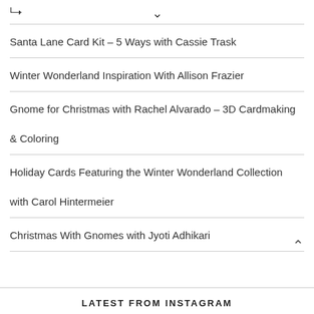Santa Lane Card Kit – 5 Ways with Cassie Trask
Winter Wonderland Inspiration With Allison Frazier
Gnome for Christmas with Rachel Alvarado – 3D Cardmaking & Coloring
Holiday Cards Featuring the Winter Wonderland Collection with Carol Hintermeier
Christmas With Gnomes with Jyoti Adhikari
LATEST FROM INSTAGRAM